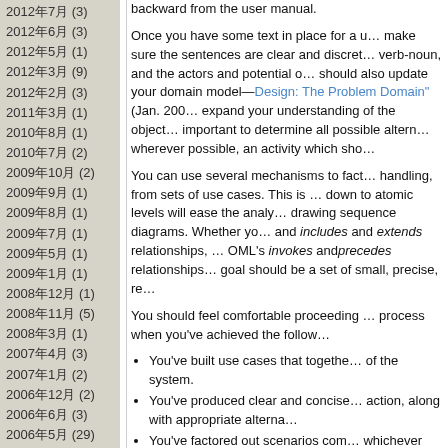2012年7月 (3)
2012年6月 (3)
2012年5月 (1)
2012年3月 (9)
2012年2月 (3)
2011年3月 (1)
2010年8月 (1)
2010年7月 (2)
2009年10月 (2)
2009年9月 (1)
2009年8月 (1)
2009年7月 (1)
2009年5月 (1)
2009年1月 (1)
2008年12月 (1)
2008年11月 (5)
2008年3月 (1)
2007年4月 (3)
2007年1月 (2)
2006年12月 (2)
2006年6月 (3)
2006年5月 (29)
全記事一覧(3)
javaタグ(rss)
内部jvm(3)(rss)
全記事一覧(rss)
backward from the user manual.

Once you have some text in place for a use case, make sure the sentences are clear and discrete, using a simple verb-noun, and the actors and potential objects. You should also update your domain model—see "Object-Oriented Design: The Problem Domain" (Jan. 2002)—as you go, to expand your understanding of the objects involved. It's important to determine all possible alternatives and exceptions wherever possible, an activity which sho…

You can use several mechanisms to factor out common handling, from sets of use cases. This is important because down to atomic levels will ease the analysis and design, drawing sequence diagrams. Whether you use generalization and includes and extends relationships, or the earlier OML's invokes and precedes relationships, the ultimate goal should be a set of small, precise, re…

You should feel comfortable proceeding to the next process when you've achieved the follo…

• You've built use cases that together cover all behavior of the system.
• You've produced clear and concise use cases for each action, along with appropriate alterna…
• You've factored out scenarios com… whichever constructs you're most com…

The Top 10 Use Case Modeling Errors
Contrary to the principles we just discussed, here are errors we have seen students make when they work on development projects for the first time. Our "top 10" lis…

10. Don't write functional requirements in the form of use case text. Requirements are generally stated in use case text; usage scenarios describe actions that the user or the system generates. Eventually, our use ca…